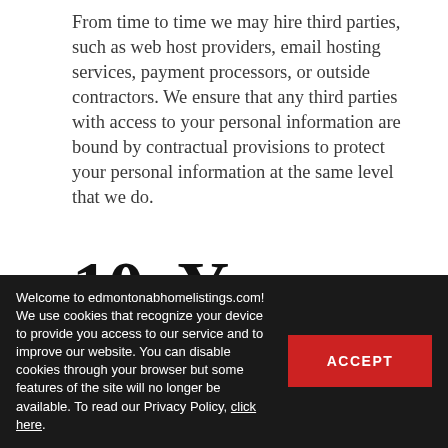From time to time we may hire third parties, such as web host providers, email hosting services, payment processors, or outside contractors. We ensure that any third parties with access to your personal information are bound by contractual provisions to protect your personal information at the same level that we do.
10. Your rights to access and correct your personal
Welcome to edmontonabhomelistings.com! We use cookies that recognize your device to provide you access to our service and to improve our website. You can disable cookies through your browser but some features of the site will no longer be available. To read our Privacy Policy, click here.